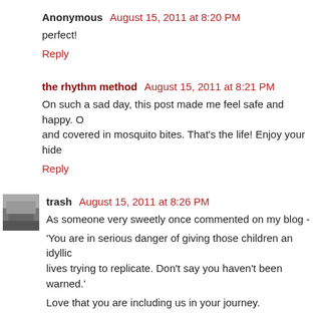Anonymous  August 15, 2011 at 8:20 PM
perfect!
Reply
the rhythm method  August 15, 2011 at 8:21 PM
On such a sad day, this post made me feel safe and happy. O and covered in mosquito bites. That's the life! Enjoy your hide
Reply
trash  August 15, 2011 at 8:26 PM
As someone very sweetly once commented on my blog -
'You are in serious danger of giving those children an idyllic lives trying to replicate. Don't say you haven't been warned.'
Love that you are including us in your journey.
Reply
teddybearswednesday  August 15, 2011 at 8:28 PM